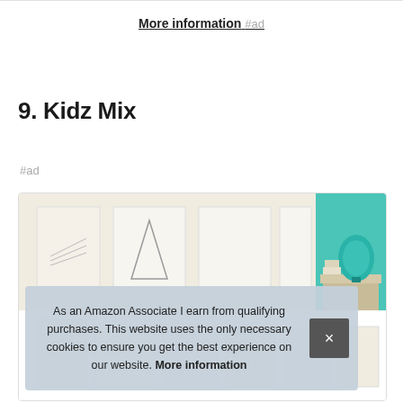More information #ad
9. Kidz Mix
#ad
[Figure (photo): Product listing card showing framed wall art prints and a teal lamp on a dresser, for Kidz Mix]
As an Amazon Associate I earn from qualifying purchases. This website uses the only necessary cookies to ensure you get the best experience on our website. More information